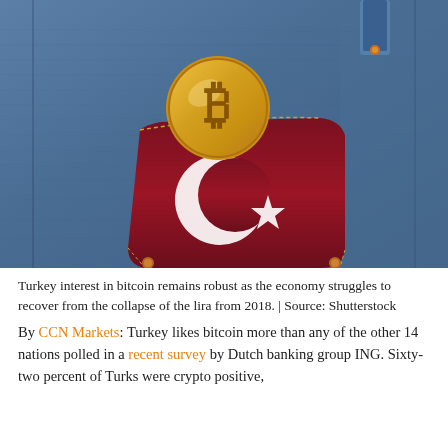[Figure (photo): A Bitcoin gold coin sticking out of a denim jeans pocket decorated with the Turkish flag (red fabric with white crescent moon and star). The background is blue denim fabric.]
Turkey interest in bitcoin remains robust as the economy struggles to recover from the collapse of the lira from 2018. | Source: Shutterstock
By CCN Markets: Turkey likes bitcoin more than any of the other 14 nations polled in a recent survey by Dutch banking group ING. Sixty-two percent of Turks were crypto positive,